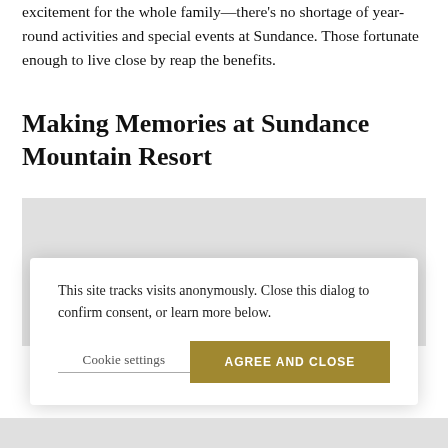excitement for the whole family—there's no shortage of year-round activities and special events at Sundance. Those fortunate enough to live close by reap the benefits.
Making Memories at Sundance Mountain Resort
[Figure (photo): Gray placeholder image for Sundance Mountain Resort photo]
This site tracks visits anonymously. Close this dialog to confirm consent, or learn more below.
Cookie settings   AGREE AND CLOSE